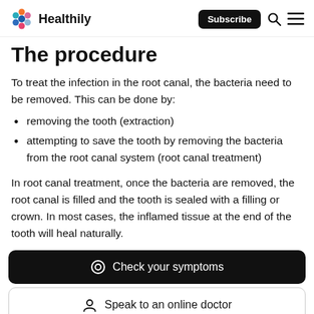Healthily — Subscribe, Search, Menu
The procedure
To treat the infection in the root canal, the bacteria need to be removed. This can be done by:
removing the tooth (extraction)
attempting to save the tooth by removing the bacteria from the root canal system (root canal treatment)
In root canal treatment, once the bacteria are removed, the root canal is filled and the tooth is sealed with a filling or crown. In most cases, the inflamed tissue at the end of the tooth will heal naturally.
Check your symptoms
Speak to an online doctor